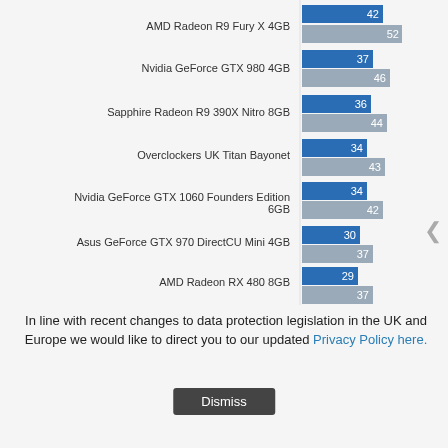[Figure (grouped-bar-chart): ]
In line with recent changes to data protection legislation in the UK and Europe we would like to direct you to our updated Privacy Policy here.
Dismiss